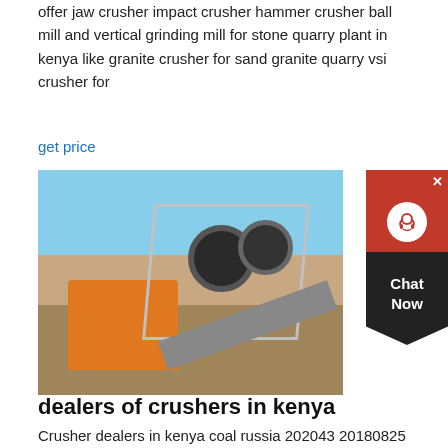offer jaw crusher impact crusher hammer crusher ball mill and vertical grinding mill for stone quarry plant in kenya like granite crusher for sand granite quarry vsi crusher for
get price
[Figure (photo): A mobile jaw crusher machine mounted on a steel frame with conveyor belt, attached to an orange truck/crane, photographed outdoors at a quarry site with blue sky and reddish-brown soil background.]
[Figure (other): Chat Now widget with red background and white headset icon, dark chevron shape with 'Chat Now' text.]
dealers of crushers in kenya
Crusher dealers in kenya coal russia 202043 20180825 crusher dealers in kenya stamp mill for sale crusher wear parts china the is the professional mining equipments manufacturer in the world